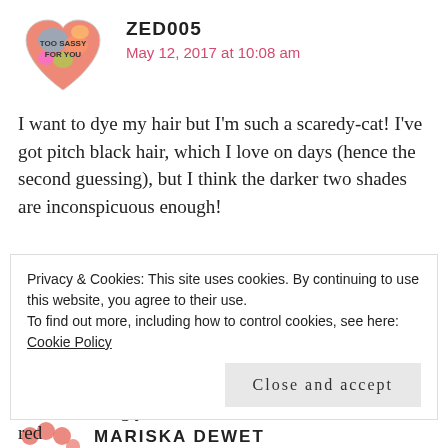[Figure (illustration): Tie-dye heart avatar with text 'TOO SASSY FOR YOU']
ZED005
May 12, 2017 at 10:08 am
I want to dye my hair but I'm such a scaredy-cat! I've got pitch black hair, which I love on days (hence the second guessing), but I think the darker two shades are inconspicuous enough!
REPLY
[Figure (illustration): Flower/avatar icon for second commenter]
MARISKA DEWET
Privacy & Cookies: This site uses cookies. By continuing to use this website, you agree to their use.
To find out more, including how to control cookies, see here: Cookie Policy
Close and accept
it from turning yellow.I'm a natural red head so that red